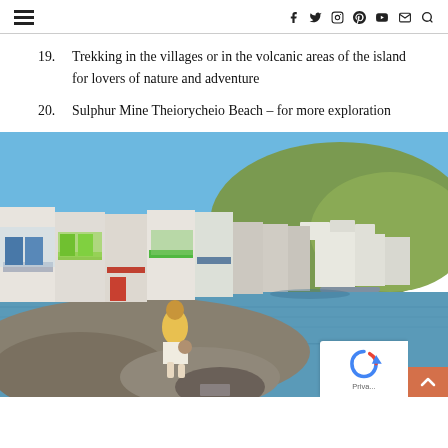≡  f  𝕏  ◎  ⊕  ▶  ✉  🔍
19. Trekking in the villages or in the volcanic areas of the island for lovers of nature and adventure
20. Sulphur Mine Theiorycheio Beach – for more exploration
[Figure (photo): A woman standing on rocky shoreline in front of colorful Greek waterfront village buildings with a green hill in background, Milos island, Greece]